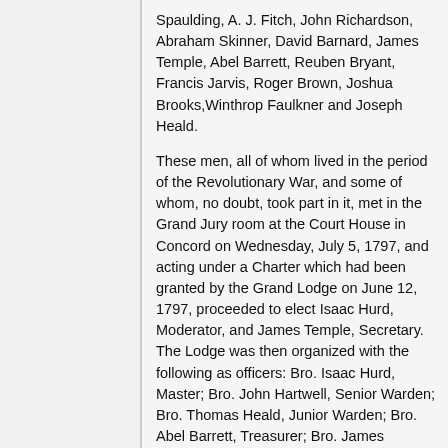Spaulding, A. J. Fitch, John Richardson, Abraham Skinner, David Barnard, James Temple, Abel Barrett, Reuben Bryant, Francis Jarvis, Roger Brown, Joshua Brooks, Winthrop Faulkner and Joseph Heald.
These men, all of whom lived in the period of the Revolutionary War, and some of whom, no doubt, took part in it, met in the Grand Jury room at the Court House in Concord on Wednesday, July 5, 1797, and acting under a Charter which had been granted by the Grand Lodge on June 12, 1797, proceeded to elect Isaac Hurd, Moderator, and James Temple, Secretary. The Lodge was then organized with the following as officers: Bro. Isaac Hurd, Master; Bro. John Hartwell, Senior Warden; Bro. Thomas Heald, Junior Warden; Bro. Abel Barrett, Treasurer; Bro. James Temple, Secretary; Bro. Daniel Davis, Senior Deacon; Bro. A. I. Fitch, Junior Deacon; Bros. Jonathan Curtis and Ithamar Spaulding, Stewards. It was voted to adjourn to August 2, 1797, at four o'clock, to open as a regular Lodge.